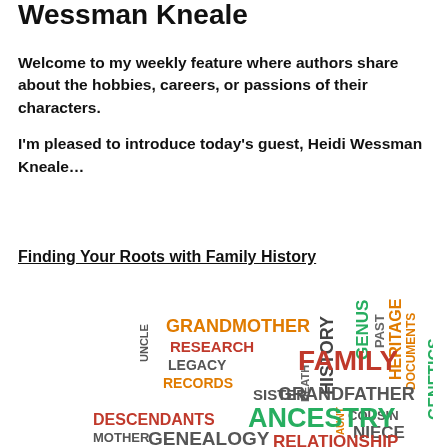Wessman Kneale
Welcome to my weekly feature where authors share about the hobbies, careers, or passions of their characters.
I'm pleased to introduce today's guest, Heidi Wessman Kneale…
Finding Your Roots with Family History
[Figure (infographic): Word cloud featuring genealogy/family history terms including ANCESTRY, FAMILY, GRANDFATHER, GRANDMOTHER, HISTORY, GENEALOGY, HERITAGE, GENETICS, RECORDS, LEGACY, RESEARCH, DESCENDANTS, SISTER, NIECE, COUSIN, UNCLE, MOTHER, DEATH, GENUS, PAST, DOCUMENTS, RELATIONSHIP in various colors (green, orange, red, dark green) and sizes.]